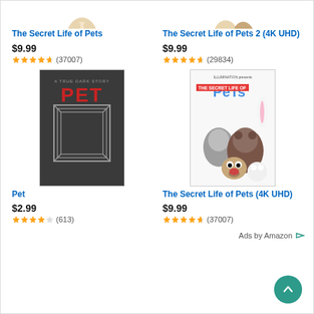[Figure (screenshot): Amazon product listing showing 4 movie titles with prices and star ratings: The Secret Life of Pets, The Secret Life of Pets 2 (4K UHD), Pet, The Secret Life of Pets (4K UHD). Page has Ads by Amazon footer and back-to-top button.]
The Secret Life of Pets
$9.99
(37007)
The Secret Life of Pets 2 (4K UHD)
$9.99
(29834)
Pet
$2.99
(613)
The Secret Life of Pets (4K UHD)
$9.99
(37007)
Ads by Amazon